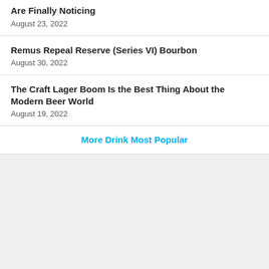Are Finally Noticing — August 23, 2022
Remus Repeal Reserve (Series VI) Bourbon — August 30, 2022
The Craft Lager Boom Is the Best Thing About the Modern Beer World — August 19, 2022
More Drink Most Popular